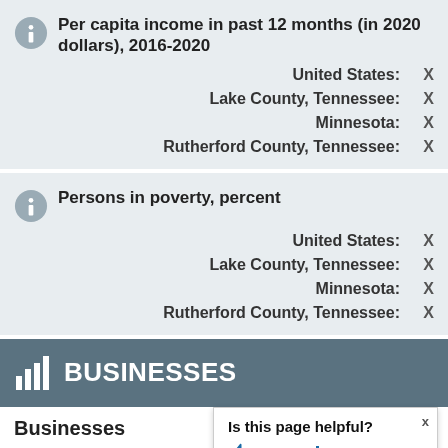Per capita income in past 12 months (in 2020 dollars), 2016-2020
United States: X
Lake County, Tennessee: X
Minnesota: X
Rutherford County, Tennessee: X
Persons in poverty, percent
United States: X
Lake County, Tennessee: X
Minnesota: X
Rutherford County, Tennessee: X
BUSINESSES
Businesses
Is this page helpful? Yes No